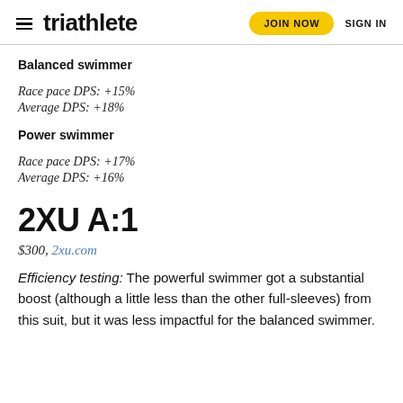triathlete   JOIN NOW   SIGN IN
Balanced swimmer
Race pace DPS: +15%
Average DPS: +18%
Power swimmer
Race pace DPS: +17%
Average DPS: +16%
2XU A:1
$300, 2xu.com
Efficiency testing: The powerful swimmer got a substantial boost (although a little less than the other full-sleeves) from this suit, but it was less impactful for the balanced swimmer.